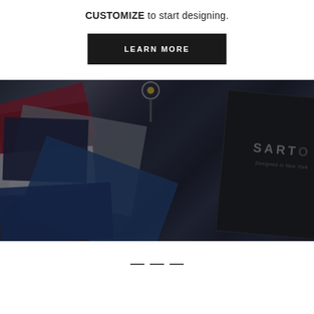CUSTOMIZE to start designing.
LEARN MORE
[Figure (photo): Overhead view of fabric swatches in navy, red, gray, and blue colors fanned out, alongside dark leather/fabric book labeled 'SARTO Designed in New York' and tailoring tools including scissors, on a dark background.]
— — —